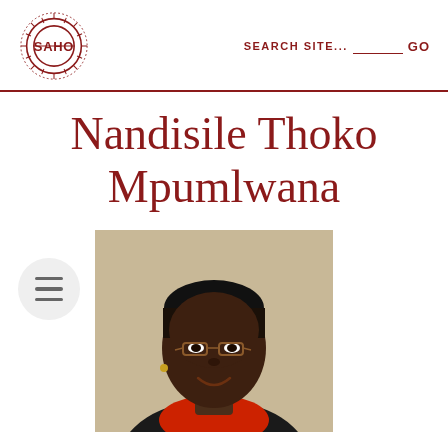SAHO — SEARCH SITE... GO
Nandisile Thoko Mpumlwana
[Figure (photo): Portrait photo of Nandisile Thoko Mpumlwana, a woman wearing glasses and a red scarf, smiling, against a beige background.]